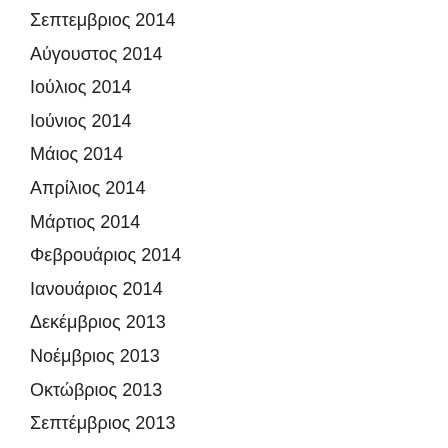Σεπτεμβριος 2014
Αύγουστος 2014
Ιούλιος 2014
Ιούνιος 2014
Μάιος 2014
Απρίλιος 2014
Μάρτιος 2014
Φεβρουάριος 2014
Ιανουάριος 2014
Δεκέμβριος 2013
Νοέμβριος 2013
Οκτώβριος 2013
Σεπτέμβριος 2013
Αύγουστος 2013